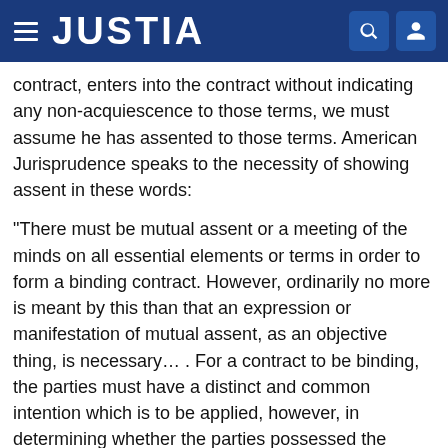JUSTIA
contract, enters into the contract without indicating any non-acquiescence to those terms, we must assume he has assented to those terms. American Jurisprudence speaks to the necessity of showing assent in these words:
"There must be mutual assent or a meeting of the minds on all essential elements or terms in order to form a binding contract. However, ordinarily no more is meant by this than that an expression or manifestation of mutual assent, as an objective thing, is necessary... . For a contract to be binding, the parties must have a distinct and common intention which is to be applied, however, in determining whether the parties possessed the necessary intention to contract. This means that the manifestation of a party's intention, rather than the actual or real intention, is ordinarily controlling.... * * * *